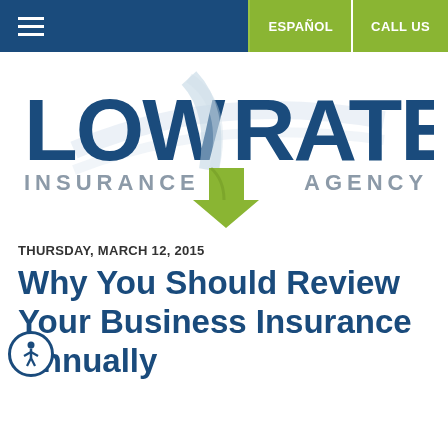≡   ESPAÑOL   CALL US
[Figure (logo): Low Rate Insurance Agency logo with road/arrow graphic in blue and green/yellow]
THURSDAY, MARCH 12, 2015
Why You Should Review Your Business Insurance Annually